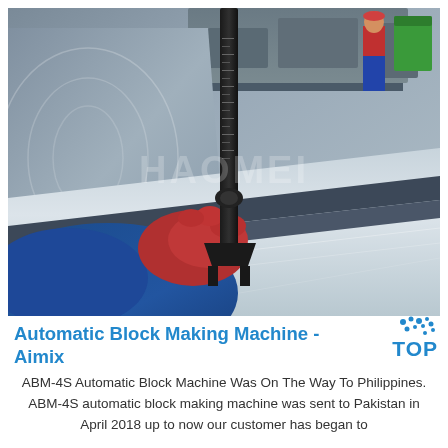[Figure (photo): A worker in a blue jacket and red glove uses a digital caliper to measure a large metal block/plate in an industrial factory setting. A watermark reading 'HAOMEI' is visible on the image. Background shows factory equipment and another worker in red.]
Automatic Block Making Machine - Aimix
ABM-4S Automatic Block Machine Was On The Way To Philippines. ABM-4S automatic block making machine was sent to Pakistan in April 2018 up to now our customer has began to